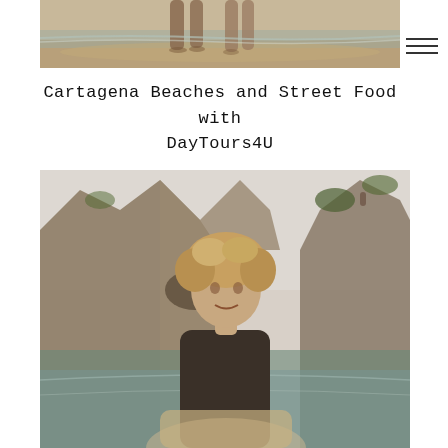[Figure (photo): A person walking on a beach near the water's edge, shot from below showing legs and feet on wet sand, warm tones, sunset lighting.]
Cartagena Beaches and Street Food with DayTours4U
[Figure (photo): A man with curly blonde hair standing in front of rocky coastal cliffs and blue water, wearing a dark shirt, looking at the camera.]